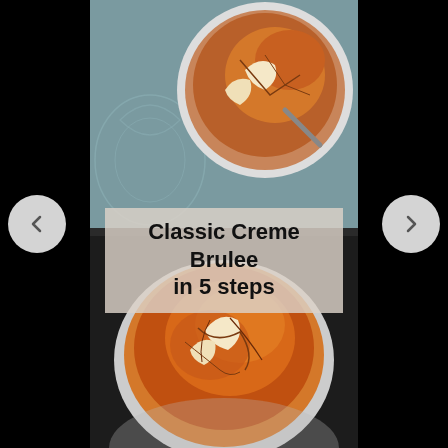[Figure (photo): Social media story slide showing two ramekins of Classic Creme Brulee with caramelized sugar tops being broken, on a decorative teal surface. Navigation arrows on left and right, pause and share icons at top right. Title overlay reads 'Classic Creme Brulee in 5 steps'.]
Classic Creme Brulee in 5 steps